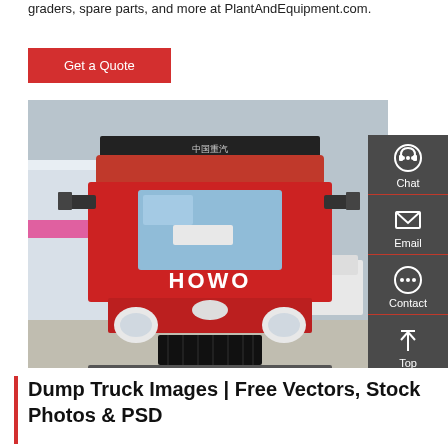graders, spare parts, and more at PlantAndEquipment.com.
Get a Quote
[Figure (photo): Front view of a red HOWO dump truck parked in a truck yard with blue cargo containers and buildings in the background. Chinese text on the sunshade bar reads 中国重汽.]
Chat
Email
Contact
Top
Dump Truck Images | Free Vectors, Stock Photos & PSD